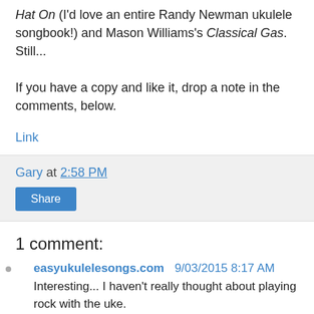Hat On (I'd love an entire Randy Newman ukulele songbook!) and Mason Williams's Classical Gas. Still...
If you have a copy and like it, drop a note in the comments, below.
Link
Gary at 2:58 PM
Share
1 comment:
easyukulelesongs.com 9/03/2015 8:17 AM
Interesting... I haven't really thought about playing rock with the uke.
Reply